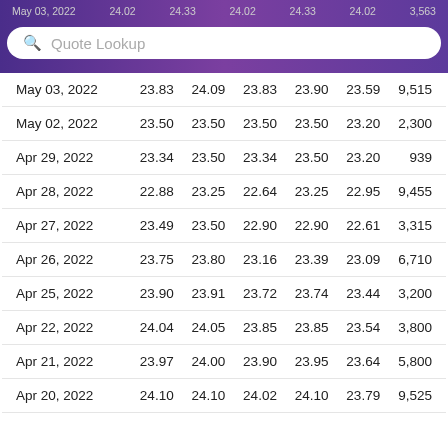May 03, 2022  24.02  24.33  24.02  24.33  24.02  3,563
Quote Lookup
| Date | Open | High | Low | Close | Adj Close | Volume |
| --- | --- | --- | --- | --- | --- | --- |
| May 03, 2022 | 23.83 | 24.09 | 23.83 | 23.90 | 23.59 | 9,515 |
| May 02, 2022 | 23.50 | 23.50 | 23.50 | 23.50 | 23.20 | 2,300 |
| Apr 29, 2022 | 23.34 | 23.50 | 23.34 | 23.50 | 23.20 | 939 |
| Apr 28, 2022 | 22.88 | 23.25 | 22.64 | 23.25 | 22.95 | 9,455 |
| Apr 27, 2022 | 23.49 | 23.50 | 22.90 | 22.90 | 22.61 | 3,315 |
| Apr 26, 2022 | 23.75 | 23.80 | 23.16 | 23.39 | 23.09 | 6,710 |
| Apr 25, 2022 | 23.90 | 23.91 | 23.72 | 23.74 | 23.44 | 3,200 |
| Apr 22, 2022 | 24.04 | 24.05 | 23.85 | 23.85 | 23.54 | 3,800 |
| Apr 21, 2022 | 23.97 | 24.00 | 23.90 | 23.95 | 23.64 | 5,800 |
| Apr 20, 2022 | 24.10 | 24.10 | 24.02 | 24.10 | 23.79 | 9,525 |